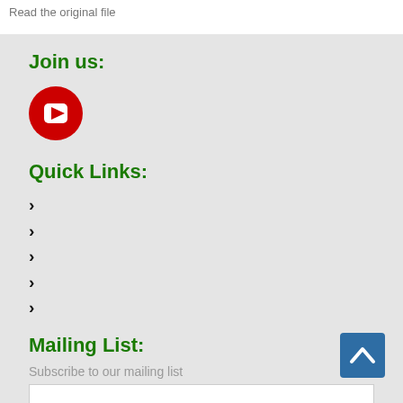Read the original file
Join us:
[Figure (logo): YouTube icon — red circle with white play button triangle]
Quick Links:
>
>
>
>
>
Mailing List:
Subscribe to our mailing list
[Figure (other): Scroll-to-top button — blue square with white upward chevron arrow]